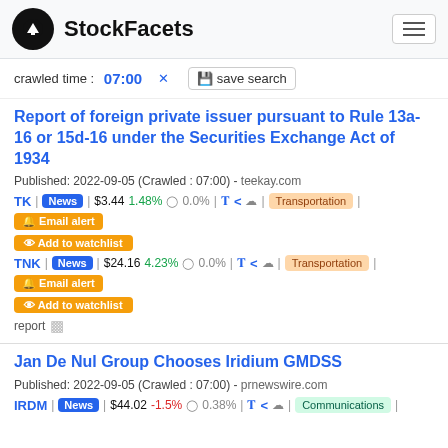StockFacets
crawled time : 07:00 ✕   💾 save search
Report of foreign private issuer pursuant to Rule 13a-16 or 15d-16 under the Securities Exchange Act of 1934
Published: 2022-09-05 (Crawled : 07:00) - teekay.com
TK | News | $3.44 1.48% ⊙ 0.0% | Transportation | Email alert
Add to watchlist
TNK | News | $24.16 4.23% ⊙ 0.0% | Transportation | Email alert
Add to watchlist
report
Jan De Nul Group Chooses Iridium GMDSS
Published: 2022-09-05 (Crawled : 07:00) - prnewswire.com
IRDM | News | $44.02 -1.5% ⊙ 0.38% | Communications |